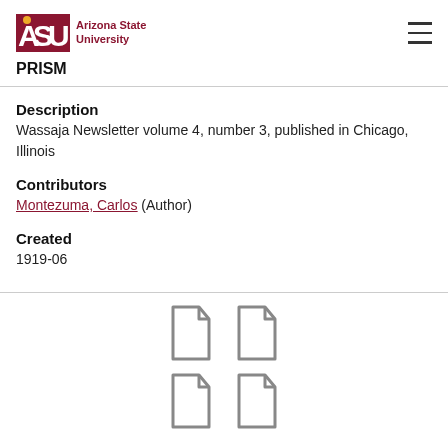ASU Arizona State University | PRISM
Description
Wassaja Newsletter volume 4, number 3, published in Chicago, Illinois
Contributors
Montezuma, Carlos (Author)
Created
1919-06
[Figure (illustration): Four document/file icons arranged in a 2x2 grid, shown in grey outline style]